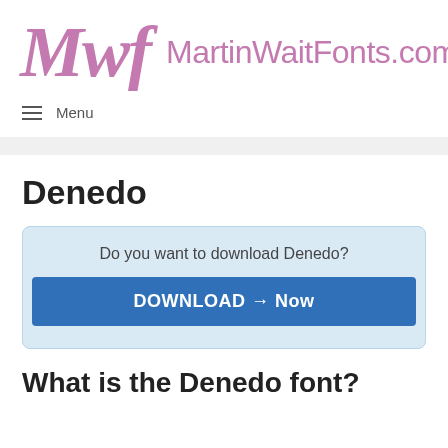Mwf MartinWaitFonts.com
≡ Menu
Denedo
Do you want to download Denedo?
DOWNLOAD → Now
What is the Denedo font?